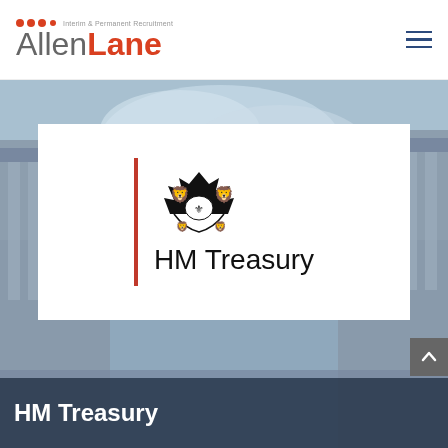[Figure (logo): Allen Lane Interim & Permanent Recruitment logo with red dots and two-tone text]
[Figure (photo): Background photograph of classical government building exterior with columns and blue sky, muted blue-grey tone]
[Figure (logo): HM Treasury logo: red vertical bar, royal crest, text 'HM Treasury' on white card]
HM Treasury